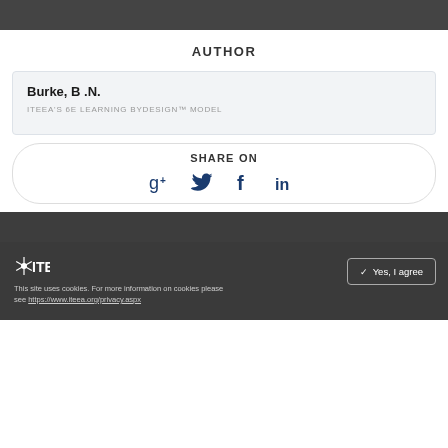AUTHOR
Burke, B .N.
ITEEA'S 6E LEARNING BYDESIGN™ MODEL
SHARE ON
[Figure (infographic): Social sharing icons: Google+, Twitter, Facebook, LinkedIn]
ITEEA logo. This site uses cookies. For more information on cookies please see https://www.iteea.org/privacy.aspx. Yes, I agree button.